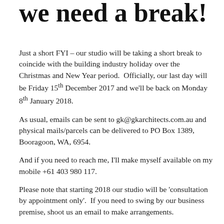we need a break!
Just a short FYI – our studio will be taking a short break to coincide with the building industry holiday over the Christmas and New Year period.  Officially, our last day will be Friday 15th December 2017 and we'll be back on Monday 8th January 2018.
As usual, emails can be sent to gk@gkarchitects.com.au and physical mails/parcels can be delivered to PO Box 1389, Booragoon, WA, 6954.
And if you need to reach me, I'll make myself available on my mobile +61 403 980 117.
Please note that starting 2018 our studio will be 'consultation by appointment only'.  If you need to swing by our business premise, shoot us an email to make arrangements.